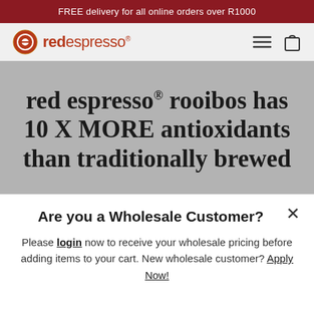FREE delivery for all online orders over R1000
[Figure (logo): red espresso logo with circular icon and brand name in dark red/brown color]
red espresso® rooibos has 10 X MORE antioxidants than traditionally brewed
Are you a Wholesale Customer?
Please login now to receive your wholesale pricing before adding items to your cart. New wholesale customer? Apply Now!